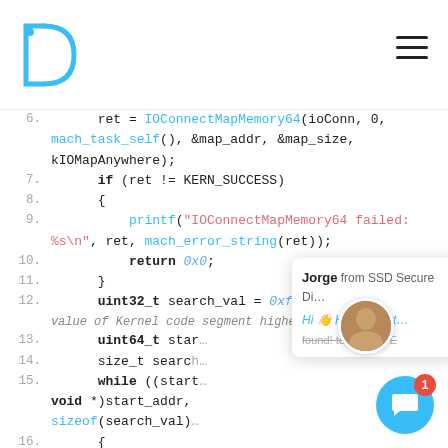Disassembler logo and navigation
[Figure (screenshot): Code editor showing C code lines 6-22 with syntax highlighting. Keywords in bold dark, function names in cyan, hex values in blue, strings in red/pink, comments in gray. Lines 6-22 visible. Partial chat popup overlay visible on right side with avatar image and chat widget button bottom right.]
Jorge from SSD Secure Di...
Hi 👋 Have about...
found! ter okkaye E